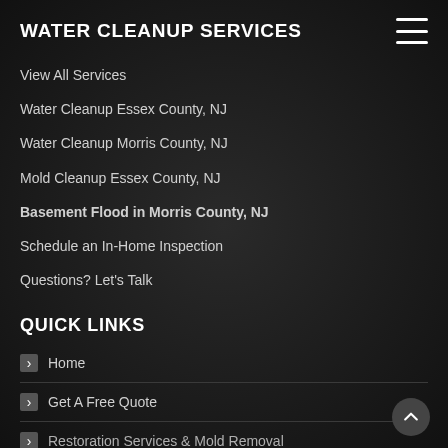WATER CLEANUP SERVICES
View All Services
Water Cleanup Essex County, NJ
Water Cleanup Morris County, NJ
Mold Cleanup Essex County, NJ
Basement Flood in Morris County, NJ
Schedule an In-Home Inspection
Questions? Let's Talk
QUICK LINKS
Home
Get A Free Quote
Restoration Services & Mold Removal